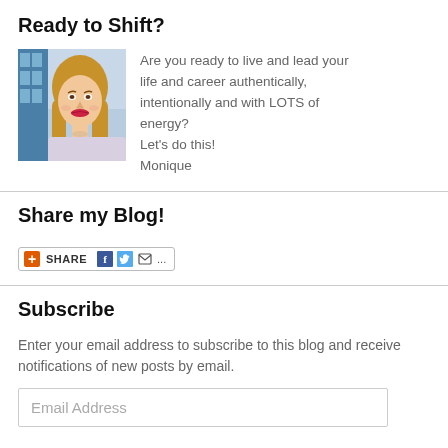Ready to Shift?
[Figure (photo): Portrait photo of a woman with long blonde hair and red lipstick, wearing a light-colored top, standing in front of a building with blue windows.]
Are you ready to live and lead your life and career authentically, intentionally and with LOTS of energy? Let's do this! Monique
Share my Blog!
[Figure (screenshot): A share button widget showing a red plus icon, SHARE label, Facebook icon, Twitter icon, email icon, and ellipsis.]
Subscribe
Enter your email address to subscribe to this blog and receive notifications of new posts by email.
Email Address